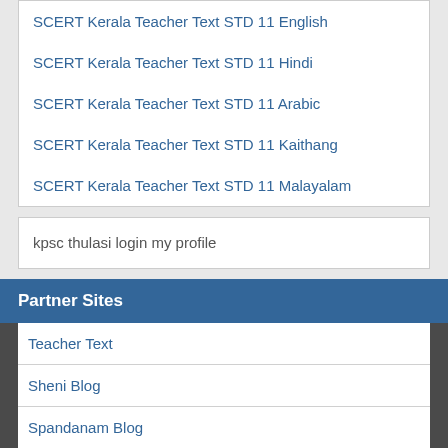SCERT Kerala Teacher Text STD 11 English
SCERT Kerala Teacher Text STD 11 Hindi
SCERT Kerala Teacher Text STD 11 Arabic
SCERT Kerala Teacher Text STD 11 Kaithang
SCERT Kerala Teacher Text STD 11 Malayalam
kpsc thulasi login my profile
Partner Sites
Teacher Text
Sheni Blog
Spandanam Blog
Globaldias
LMSTULL